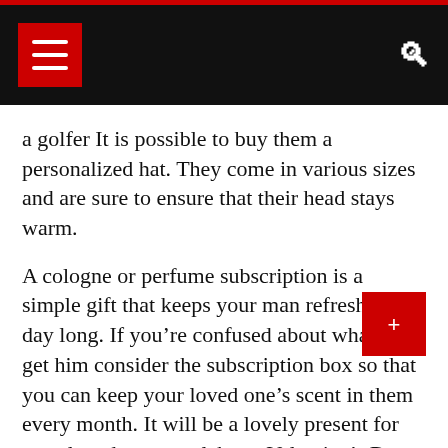Navigation bar with menu and search icons
a golfer It is possible to buy them a personalized hat. They come in various sizes and are sure to ensure that their head stays warm.
A cologne or perfume subscription is a simple gift that keeps your man refreshed all day long. If you’re confused about what to get him consider the subscription box so that you can keep your loved one’s scent in them every month. It will be a lovely present for your loved one to celebrate Valentine’s Day and you’ll know that the gift will be appreciated for many years to be.
Is it important for you to get the right details about Best Lawyer and Judge 3d LED Light Prices ?
Do you intend to obtain details regarding Best Lawyer